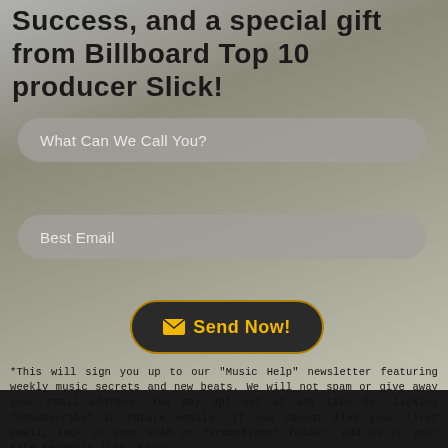Success, and a special gift from Billboard Top 10 producer Slick!
What Can We Call You?
Best Email
Send Now!
*This will sign you up to our "Music Help" newsletter featuring weekly music secrets and new beats. We will not spam or give away your email address. You may opt out at any time by clicking "Unsubscribe" in future emails. If you cannot find your first email, look in your SPAM or "Promotions" folder. Add us to your safe sender's list. Enjoy.